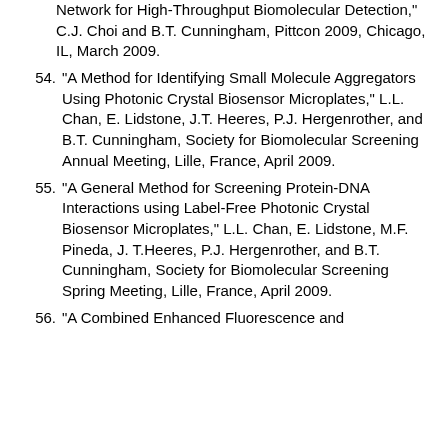(continuation) Network for High-Throughput Biomolecular Detection,” C.J. Choi and B.T. Cunningham, Pittcon 2009, Chicago, IL, March 2009.
54. “A Method for Identifying Small Molecule Aggregators Using Photonic Crystal Biosensor Microplates,” L.L. Chan, E. Lidstone, J.T. Heeres, P.J. Hergenrother, and B.T. Cunningham, Society for Biomolecular Screening Annual Meeting, Lille, France, April 2009.
55. “A General Method for Screening Protein-DNA Interactions using Label-Free Photonic Crystal Biosensor Microplates,” L.L. Chan, E. Lidstone, M.F. Pineda, J. T.Heeres, P.J. Hergenrother, and B.T. Cunningham, Society for Biomolecular Screening Spring Meeting, Lille, France, April 2009.
56. “A Combined Enhanced Fluorescence and ...